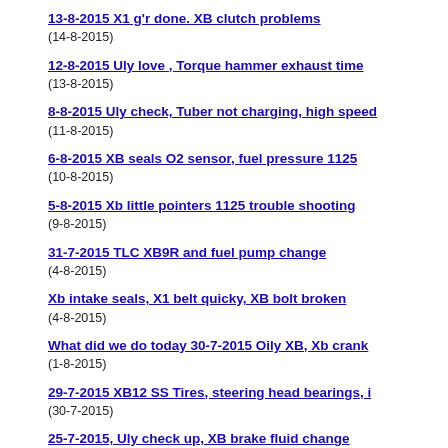13-8-2015 X1 g'r done. XB clutch problems
(14-8-2015)
12-8-2015 Uly love , Torque hammer exhaust time
(13-8-2015)
8-8-2015 Uly check, Tuber not charging, high speed
(11-8-2015)
6-8-2015 XB seals O2 sensor, fuel pressure 1125
(10-8-2015)
5-8-2015 Xb little pointers 1125 trouble shooting
(9-8-2015)
31-7-2015 TLC XB9R and fuel pump change
(4-8-2015)
Xb intake seals, X1 belt quicky, XB bolt broken
(4-8-2015)
What did we do today 30-7-2015 Oily XB, Xb crank
(1-8-2015)
29-7-2015 XB12 SS Tires, steering head bearings, i
(30-7-2015)
25-7-2015, Uly check up, XB brake fluid change
(29-7-2015)
24-7-2015 1125 Hamertime, S3 belt change
(26-7-2015)
23-7-2015 Buell M2 TLC Buell Ullysses customizing
(24-7-2015)
22-7-2015, some M2 TLC, 883R jetting check
(23-7-2015)